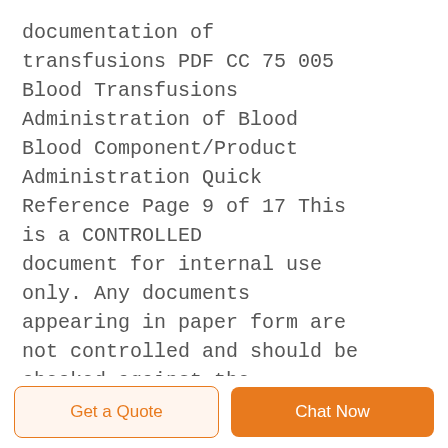documentation of transfusions PDF CC 75 005 Blood Transfusions Administration of Blood Blood Component/Product Administration Quick Reference Page 9 of 17 This is a CONTROLLED document for internal use only. Any documents appearing in paper form are not controlled and should be checked against the electronic file version prior to use.
blood transfusion set price 2022 blood
Get a Quote   Chat Now